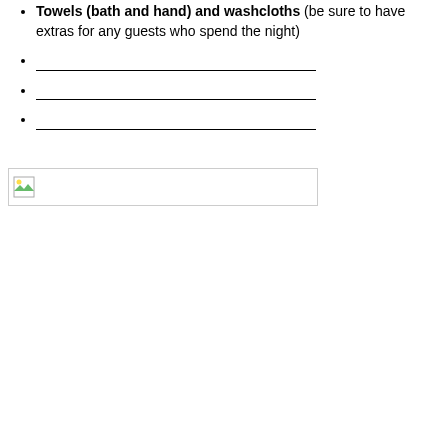Towels (bath and hand) and washcloths (be sure to have extras for any guests who spend the night)
___________________________________________
___________________________________________
___________________________________________
[Figure (other): Broken/missing image placeholder with small icon in top-left corner, enclosed in a rectangle]